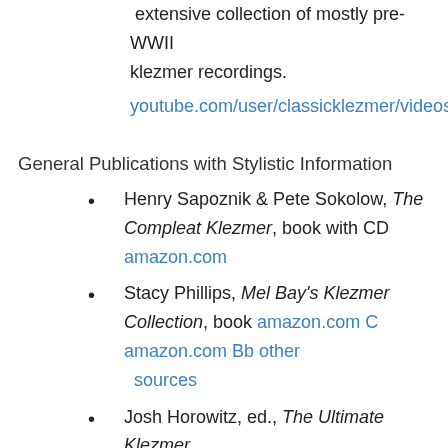Classic Klezmer YouTube videos. This is an extensive collection of mostly pre-WWII klezmer recordings.
youtube.com/user/classicklezmer/videos
General Publications with Stylistic Information
Henry Sapoznik & Pete Sokolow, The Compleat Klezmer, book with CD amazon.com
Stacy Phillips, Mel Bay's Klezmer Collection, book amazon.com C amazon.com Bb other sources
Josh Horowitz, ed., The Ultimate Klezmer, modern edition of Nat Kostowsky, International